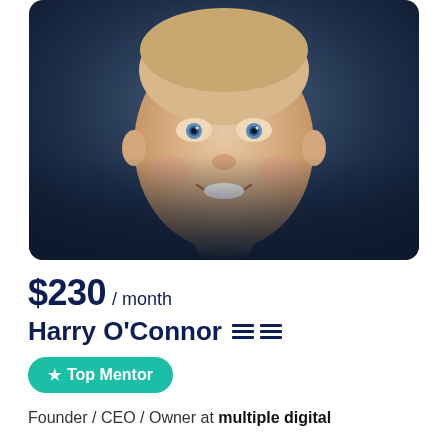[Figure (photo): Professional headshot of Harry O'Connor, a smiling man with blue eyes, against a dark blurred background.]
$230 / month
Harry O'Connor
★ Top Mentor
Founder / CEO / Owner at multiple digital